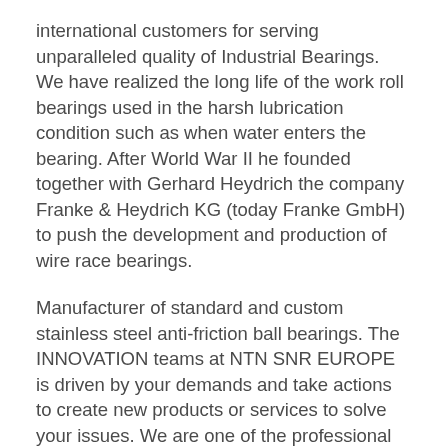international customers for serving unparalleled quality of Industrial Bearings. We have realized the long life of the work roll bearings used in the harsh lubrication condition such as when water enters the bearing. After World War II he founded together with Gerhard Heydrich the company Franke & Heydrich KG (today Franke GmbH) to push the development and production of wire race bearings.
Manufacturer of standard and custom stainless steel anti-friction ball bearings. The INNOVATION teams at NTN SNR EUROPE is driven by your demands and take actions to create new products or services to solve your issues. We are one of the professional China manufacturers work at Stainless Steel Bearing(steel ball bearings). Types of ball bearings include ring and groove ball bearings, double-row ball bearings, single-row ball bearings, angular contact ball bearings, spherical ball bearings, and thrust ball bearings, among our it